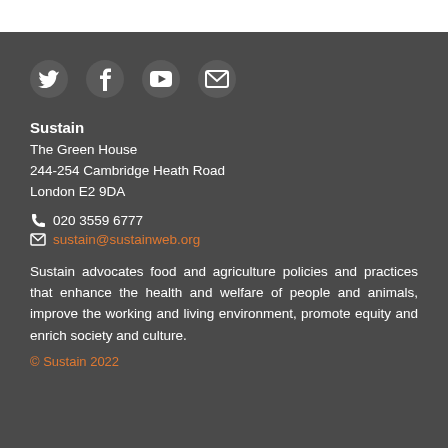[Figure (other): Social media icons: Twitter, Facebook, YouTube, Email]
Sustain
The Green House
244-254 Cambridge Heath Road
London E2 9DA
020 3559 6777
sustain@sustainweb.org
Sustain advocates food and agriculture policies and practices that enhance the health and welfare of people and animals, improve the working and living environment, promote equity and enrich society and culture.
© Sustain 2022